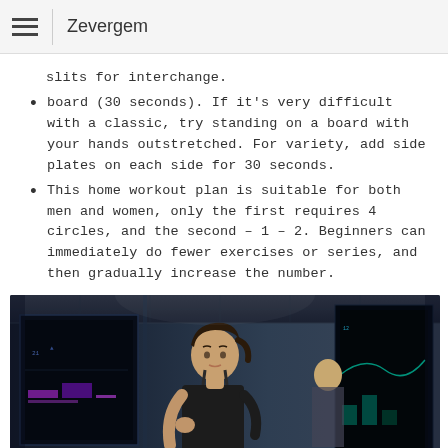Zevergem
slits for interchange.
board (30 seconds). If it's very difficult with a classic, try standing on a board with your hands outstretched. For variety, add side plates on each side for 30 seconds.
This home workout plan is suitable for both men and women, only the first requires 4 circles, and the second – 1 – 2. Beginners can immediately do fewer exercises or series, and then gradually increase the number.
[Figure (photo): Woman in black athletic wear running or exercising in a high-tech gym environment with digital screens in the background, another person visible in the background.]